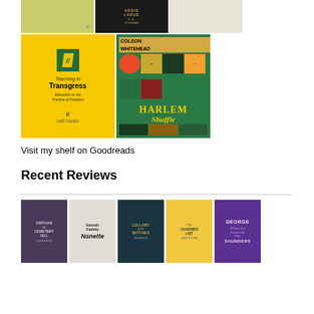[Figure (photo): Row of book covers: olive/green cover, V.E. Schwab Addie LaRue black cover, light cream cover]
[Figure (photo): Two book covers: Teaching to Transgress by bell hooks (yellow), Harlem Shuffle by Colson Whitehead (colorful)]
Visit my shelf on Goodreads
Recent Reviews
[Figure (photo): Row of five book covers: Orphan of Cemetery Hill, Hannah Gadsby Nanette, Lullaby for Witches, The Charmed List, George Saunders]